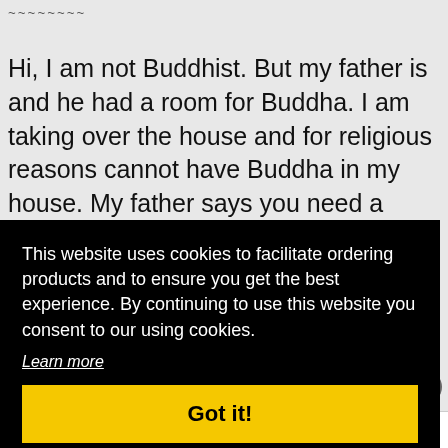~~~~~~~~
Hi, I am not Buddhist. But my father is and he had a room for Buddha. I am taking over the house and for religious reasons cannot have Buddha in my house. My father says you need a ritual to be done before it is moved. How do I go about getting that done?
This website uses cookies to facilitate ordering products and to ensure you get the best experience. By continuing to use this website you consent to our using cookies.
Learn more
Got it!
HOME   SHOP   CART   LINKS